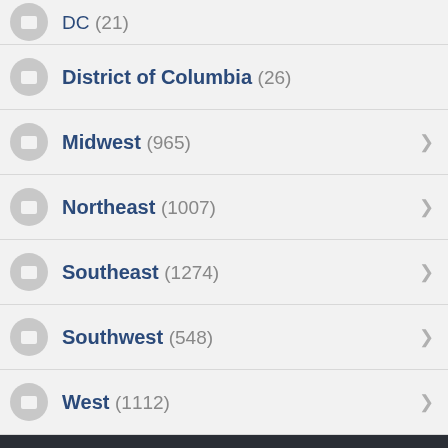DC (21)
District of Columbia (26)
Midwest (965)
Northeast (1007)
Southeast (1274)
Southwest (548)
West (1112)
NEWS BY DATE
2022
2021